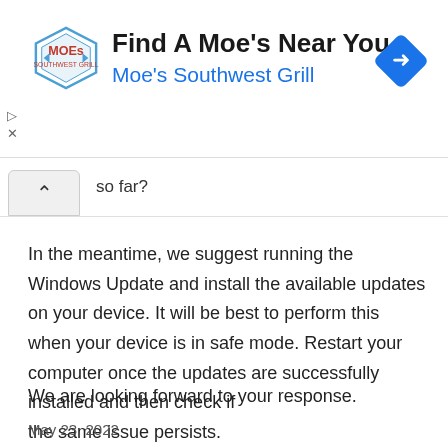[Figure (other): Moe's Southwest Grill advertisement banner with logo, title 'Find A Moe's Near You', subtitle 'Moe's Southwest Grill', and a blue diamond navigation arrow icon]
so far?
In the meantime, we suggest running the Windows Update and install the available updates on your device. It will be best to perform this when your device is in safe mode. Restart your computer once the updates are successfully installed and then check if the same issue persists.
We are looking forward to your response.
May 23, 2022